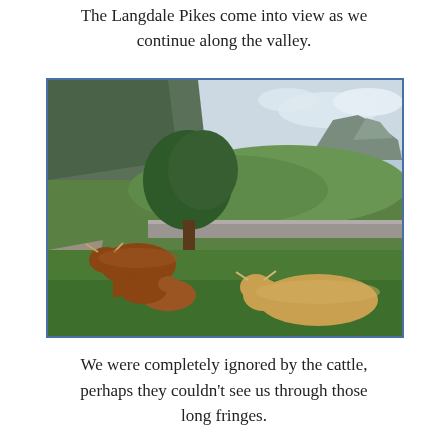The Langdale Pikes come into view as we continue along the valley.
[Figure (photo): Highland cattle (one adult standing, two young lying down on the left, and one large adult lying on the right) on a grassy hillside path with a stone wall, green valley, trees, and dramatic mountain peaks in the background under a cloudy sky.]
We were completely ignored by the cattle, perhaps they couldn't see us through those long fringes.